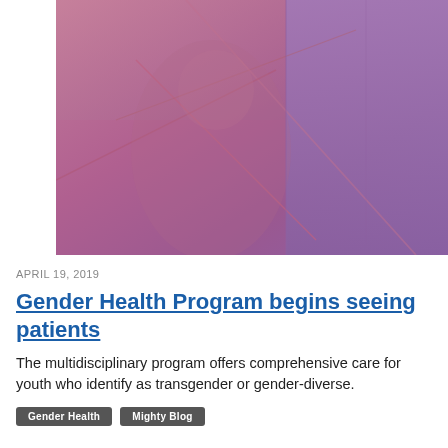[Figure (photo): Abstract pink and purple toned image with diagonal lines and geometric shapes, serving as a decorative header image for a medical blog post about a Gender Health Program.]
APRIL 19, 2019
Gender Health Program begins seeing patients
The multidisciplinary program offers comprehensive care for youth who identify as transgender or gender-diverse.
Gender Health
Mighty Blog